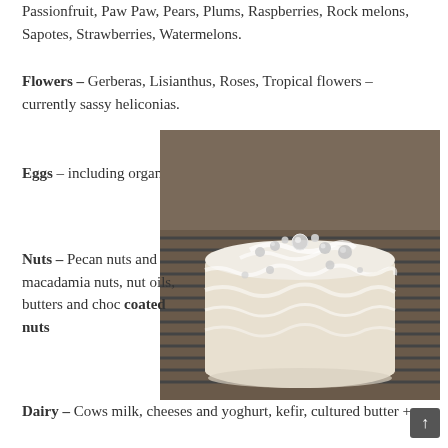Passionfruit, Paw Paw, Pears, Plums, Raspberries, Rock melons, Sapotes, Strawberries, Watermelons.
Flowers – Gerberas, Lisianthus, Roses, Tropical flowers – currently sassy heliconias.
Eggs – including organic
[Figure (photo): A white frosted celebration cake decorated with silver pearl balls, sitting on a wire rack in what appears to be a bakery setting]
Nuts – Pecan nuts and macadamia nuts, nut oils, butters and choc coated nuts
Dairy – Cows milk, cheeses and yoghurt, kefir, cultured butter ++